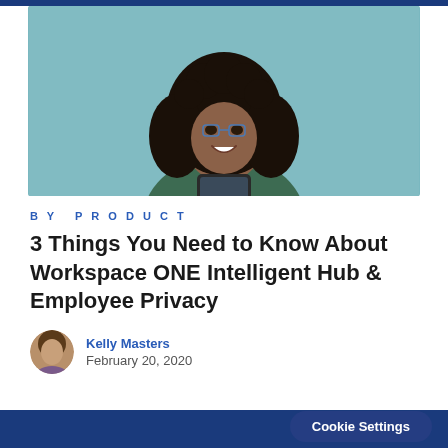[Figure (photo): A smiling woman with curly hair wearing a dark green top, holding a smartphone, against a light teal/blue background.]
By Product
3 Things You Need to Know About Workspace ONE Intelligent Hub & Employee Privacy
Kelly Masters
February 20, 2020
Cookie Settings